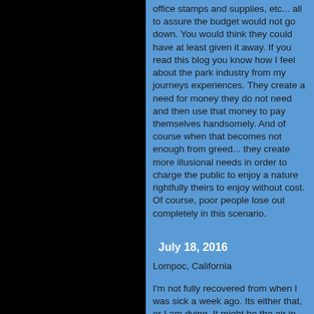office stamps and supplies, etc... all to assure the budget would not go down. You would think they could have at least given it away. If you read this blog you know how I feel about the park industry from my journeys experiences. They create a need for money they do not need and then use that money to pay themselves handsomely. And of course when that becomes not enough from greed... they create more illusional needs in order to charge the public to enjoy a nature rightfully theirs to enjoy without cost. Of course, poor people lose out completely in this scenario.
July 18, 2016
Lompoc, California
I'm not fully recovered from when I was sick a week ago. Its either that, or I am dying. It might be the air in the motel room where I am. My ankle is black and blue with a little swelling and my wrist is hurting. The wrist is either from the computer, the